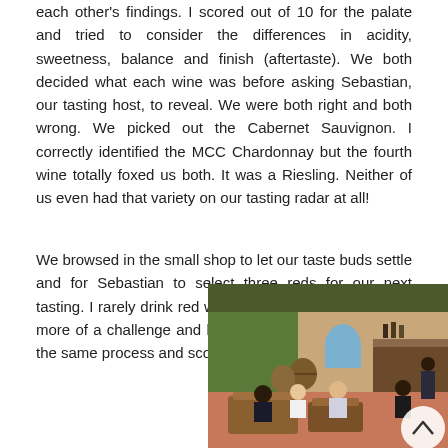each other's findings. I scored out of 10 for the palate and tried to consider the differences in acidity, sweetness, balance and finish (aftertaste). We both decided what each wine was before asking Sebastian, our tasting host, to reveal. We were both right and both wrong. We picked out the Cabernet Sauvignon. I correctly identified the MCC Chardonnay but the fourth wine totally foxed us both. It was a Riesling. Neither of us even had that variety on our tasting radar at all!
We browsed in the small shop to let our taste buds settle and for Sebastian to select three reds for our next tasting. I rarely drink red wine so this was to prove even more of a challenge and learning opportunity. I followed the same process and scored each wine out of 20
[Figure (photo): Interior of a winery tasting room with people seated around low tables, wine barrels visible in the background, a bar counter, and decorative artwork on the walls. A circular scroll-up button overlay is visible in the bottom right corner.]